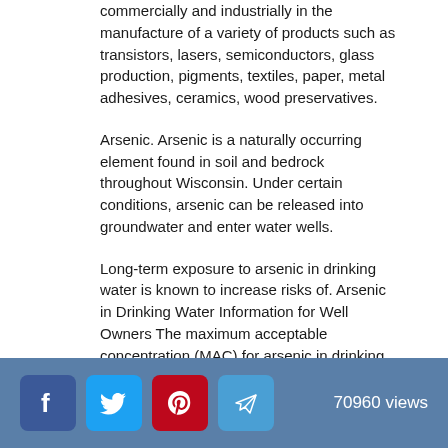commercially and industrially in the manufacture of a variety of products such as transistors, lasers, semiconductors, glass production, pigments, textiles, paper, metal adhesives, ceramics, wood preservatives.
Arsenic. Arsenic is a naturally occurring element found in soil and bedrock throughout Wisconsin. Under certain conditions, arsenic can be released into groundwater and enter water wells.
Long-term exposure to arsenic in drinking water is known to increase risks of. Arsenic in Drinking Water Information for Well Owners The maximum acceptable concentration (MAC) for arsenic in drinking water in the Guidelines for Canadian Drinking Water Quality1 (the Guidelines) is mg/L (10 μg/L) based on municipal- and residential-scale treatment achievability.
70960 views